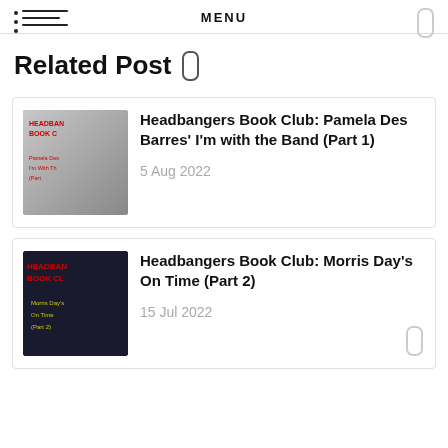MENU
Related Post
Headbangers Book Club: Pamela Des Barres' I'm with the Band (Part 1)
5 Aug 2022
Headbangers Book Club: Morris Day's On Time (Part 2)
15 Jul 2022